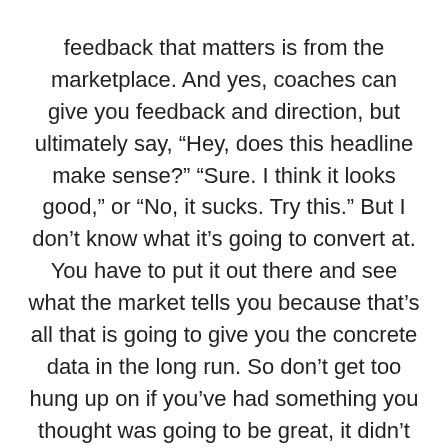feedback that matters is from the marketplace. And yes, coaches can give you feedback and direction, but ultimately say, “Hey, does this headline make sense?” “Sure. I think it looks good,” or “No, it sucks. Try this.” But I don’t know what it’s going to convert at. You have to put it out there and see what the market tells you because that’s all that is going to give you the concrete data in the long run. So don’t get too hung up on if you’ve had something you thought was going to be great, it didn’t work.
Okay, well maybe you tweak the idea, you tweak the offer a little bit to make it more compelling. You change the messaging around it or you scrap it